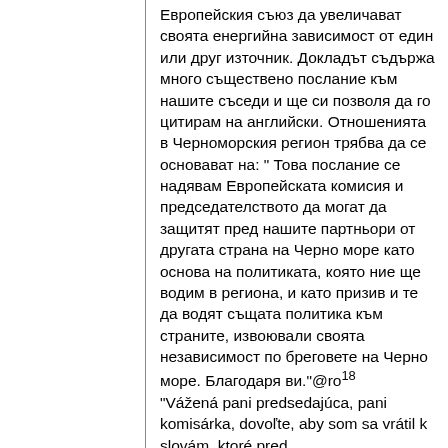Европейския съюз да увеличават своята енергийна зависимост от един или друг източник. Докладът съдържа много съществено послание към нашите съседи и ще си позволя да го цитирам на английски. Отношенията в Черноморския регион трябва да се основават на: " Това послание се надявам Европейската комисия и председателството да могат да защитят пред нашите партньори от другата страна на Черно море като основа на политиката, която ние ще водим в региона, и като призив и те да водят същата политика към страните, извоювали своята независимост по бреговете на Черно море. Благодаря ви."@ro¹18
"Vážená pani predsedajúca, pani komisárka, dovoľte, aby som sa vrátil k slovám, ktoré pred